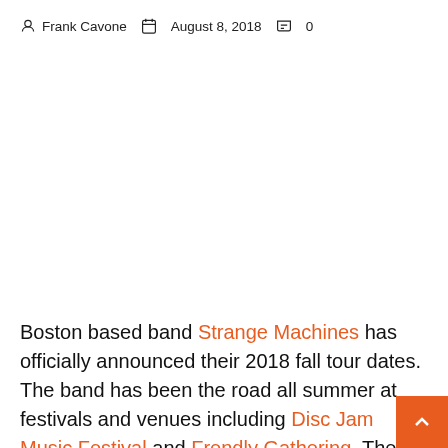Frank Cavone   August 8, 2018   0
Boston based band Strange Machines has officially announced their 2018 fall tour dates. The band has been the road all summer at festivals and venues including Disc Jam Music Festival and Frendly Gathering. Their tour kicks off on August 31st at Garcia's in Port Chester, NY.